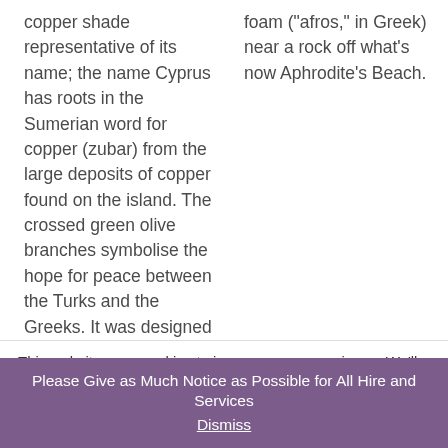copper shade representative of its name; the name Cyprus has roots in the Sumerian word for copper (zubar) from the large deposits of copper found on the island. The crossed green olive branches symbolise the hope for peace between the Turks and the Greeks. It was designed by İsmet Güney, a
foam ("afros," in Greek) near a rock off what's now Aphrodite's Beach.
This website uses cookies to improve your experience. We'll assume you're ok with this, but you can opt-out if you wish.
Please Give as Much Notice as Possible for All Hire and Services
Dismiss